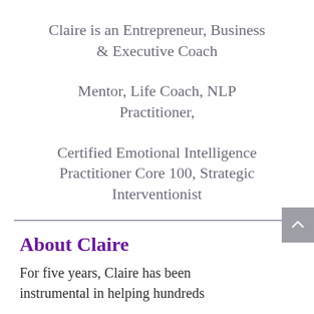Claire is an Entrepreneur, Business & Executive Coach
Mentor, Life Coach, NLP Practitioner,
Certified Emotional Intelligence Practitioner Core 100, Strategic Interventionist
About Claire
For five years, Claire has been instrumental in helping hundreds